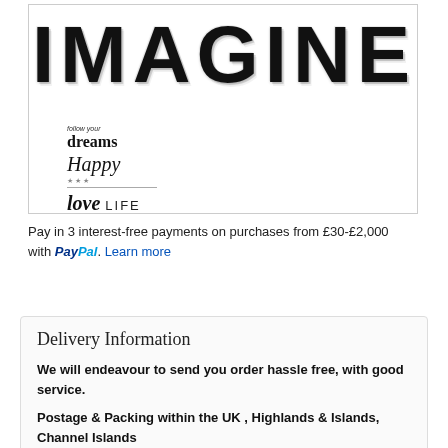[Figure (illustration): Product image box containing large distressed 'IMAGINE' text at top, and below it a group of stamp-style word art: 'follow your dreams', 'Happy', 'love LIFE', 'IMAGINE']
Pay in 3 interest-free payments on purchases from £30-£2,000 with PayPal. Learn more
Delivery Information
We will endeavour to send you order hassle free, with good service.
Postage & Packing within the UK , Highlands & Islands, Channel Islands